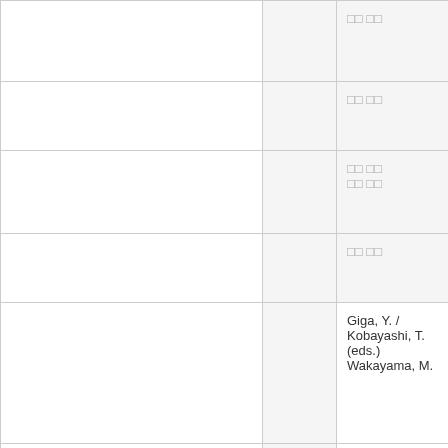|  |  | □□ □□ |
|  |  | □□ □□ |
|  |  | □□ □□
□□ □□ |
|  |  | □□ □□ |
|  |  | Giga, Y. / Kobayashi, T. (eds.)
Wakayama, M. |
|  |  | Damlamian, A. / Rodrigues, J.-F. / Sträß R. (eds.)
Wakayama, M. |
| 2012 |  | Cox, D. □ |